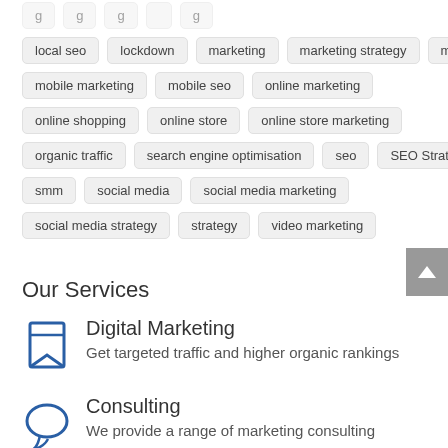local seo
lockdown
marketing
marketing strategy
mobile
mobile marketing
mobile seo
online marketing
online shopping
online store
online store marketing
organic traffic
search engine optimisation
seo
SEO Strategy
smm
social media
social media marketing
social media strategy
strategy
video marketing
Our Services
Digital Marketing
Get targeted traffic and higher organic rankings
Consulting
We provide a range of marketing consulting